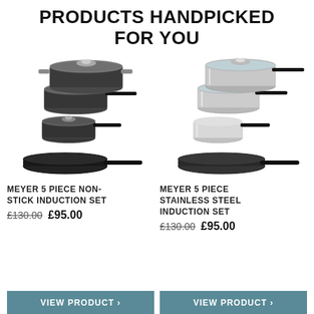PRODUCTS HANDPICKED FOR YOU
[Figure (photo): Meyer 5 piece non-stick induction pan set with dark grey/black pots and pans]
MEYER 5 PIECE NON-STICK INDUCTION SET
£130.00 £95.00
[Figure (photo): Meyer 5 piece stainless steel induction pan set with silver pots and pans]
MEYER 5 PIECE STAINLESS STEEL INDUCTION SET
£130.00 £95.00
VIEW PRODUCT >
VIEW PRODUCT >